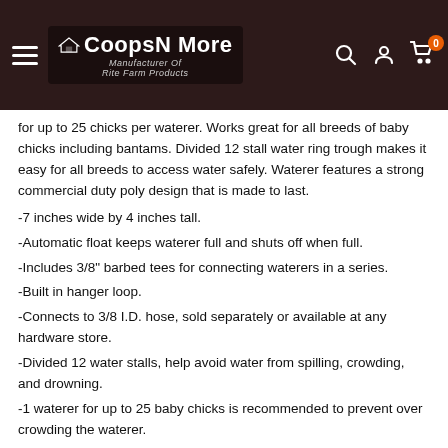CoopsNMore - Manufacturer Of Rite Farm Products
for up to 25 chicks per waterer. Works great for all breeds of baby chicks including bantams. Divided 12 stall water ring trough makes it easy for all breeds to access water safely. Waterer features a strong commercial duty poly design that is made to last.
-7 inches wide by 4 inches tall.
-Automatic float keeps waterer full and shuts off when full.
-Includes 3/8" barbed tees for connecting waterers in a series.
-Built in hanger loop.
-Connects to 3/8 I.D. hose, sold separately or available at any hardware store.
-Divided 12 water stalls, help avoid water from spilling, crowding, and drowning.
-1 waterer for up to 25 baby chicks is recommended to prevent over crowding the waterer.
-The Perfect chick watering system you have been waiting for!